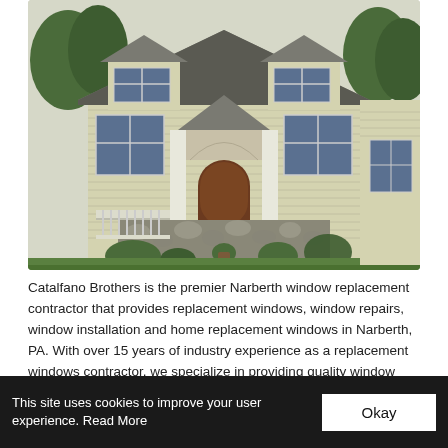[Figure (photo): Exterior photo of a two-story suburban house with beige/cream vinyl siding, multiple gabled dormers, large double-hung windows, a covered front porch with white columns and railings, an arched wooden front door, stone veneer at the base, and landscaping with shrubs and ornamental trees.]
Catalfano Brothers is the premier Narberth window replacement contractor that provides replacement windows, window repairs, window installation and home replacement windows in Narberth, PA. With over 15 years of industry experience as a replacement windows contractor, we specialize in providing quality window services including installation and window replacement.
This site uses cookies to improve your user experience. Read More